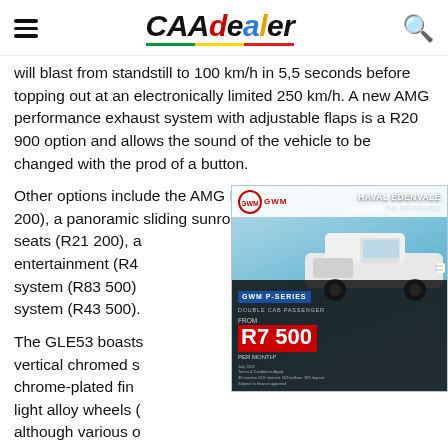CAAdealer
will blast from standstill to 100 km/h in 5,5 seconds before topping out at an electronically limited 250 km/h. A new AMG performance exhaust system with adjustable flaps is a R20 900 option and allows the sound of the vehicle to be changed with the prod of a button.
Other options include the AMG Dynamic Plus package (R86 200), a panoramic sliding sunroof (R27 300), climatised front seats (R21 200), a rear-seat entertainment (R4… system (R83 500)… system (R43 500)…
[Figure (infographic): GWM Haval Edenvale advertisement showing a white GWM P-Series Double Cab Passenger truck on a blue textured background. Text reads: HAVAL EDENVALE DISCOVER THE DIFFERENCE. GWM P-SERIES DOUBLE CAB PASSENGER FROM R7 500 PER MONTH*. Terms & Conditions Apply.]
The GLE53 boasts… vertical chromed s… chrome-plated fin… light alloy wheels (… although various o… 22 inches.
Round back, you'll notice the horizontal chromed diffuser strip…